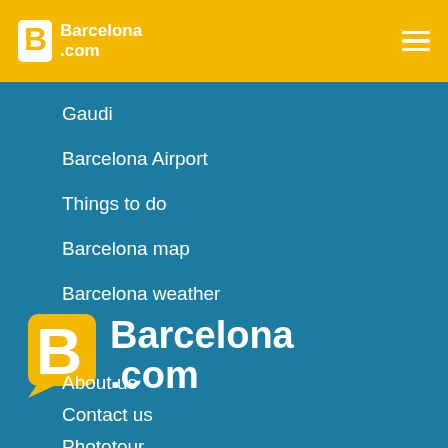Barcelona.com
Gaudi
Barcelona Airport
Things to do
Barcelona map
Barcelona weather
[Figure (logo): Barcelona.com logo large — yellow B speech-bubble icon with white text Barcelona .com]
About us
Contact us
Phototour